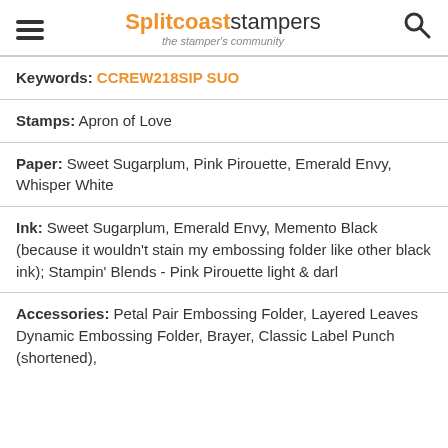Splitcoaststampers the stamper's community
Keywords: CCREW218SIP SUO
Stamps: Apron of Love
Paper: Sweet Sugarplum, Pink Pirouette, Emerald Envy, Whisper White
Ink: Sweet Sugarplum, Emerald Envy, Memento Black (because it wouldn't stain my embossing folder like other black ink); Stampin' Blends - Pink Pirouette light & darl
Accessories: Petal Pair Embossing Folder, Layered Leaves Dynamic Embossing Folder, Brayer, Classic Label Punch (shortened),